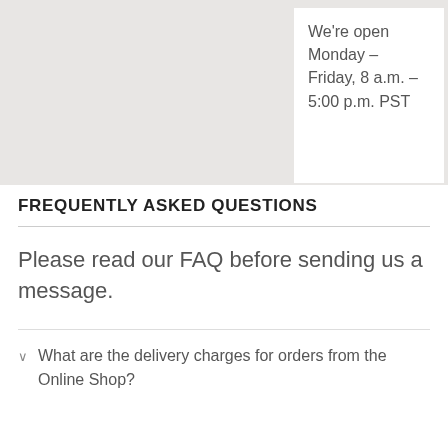We're open Monday – Friday, 8 a.m. – 5:00 p.m. PST
FREQUENTLY ASKED QUESTIONS
Please read our FAQ before sending us a message.
What are the delivery charges for orders from the Online Shop?